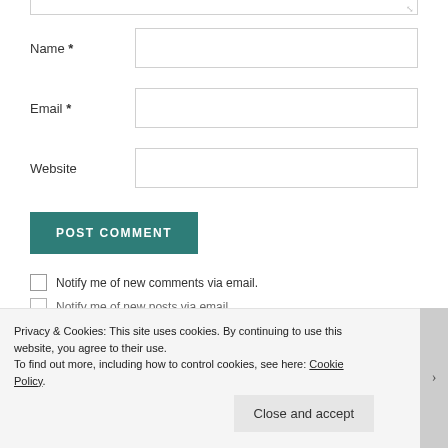[Figure (screenshot): Web form screenshot showing Name, Email, Website fields, POST COMMENT button, and two checkbox rows for email notifications. A cookie consent banner overlays the bottom portion.]
Name *
Email *
Website
POST COMMENT
Notify me of new comments via email.
Notify me of new posts via email.
Privacy & Cookies: This site uses cookies. By continuing to use this website, you agree to their use.
To find out more, including how to control cookies, see here: Cookie Policy
Close and accept